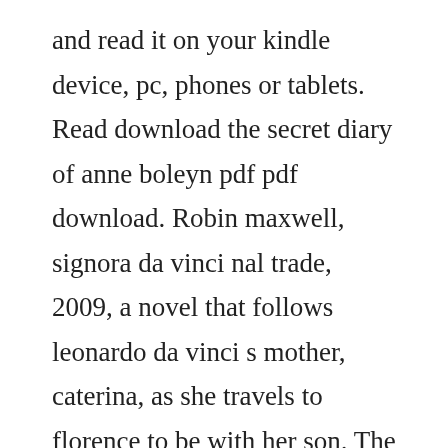and read it on your kindle device, pc, phones or tablets. Read download the secret diary of anne boleyn pdf pdf download. Robin maxwell, signora da vinci nal trade, 2009, a novel that follows leonardo da vinci s mother, caterina, as she travels to florence to be with her son. The last romanov in a time of rasputins magic and romanov mystery, a young girl finds herself at the heart of the royal familyshe was an orphan, ushered into the royal palace on the prayers of her majestry. Signora da vinci is without a doubt the best historical fiction i have read all year